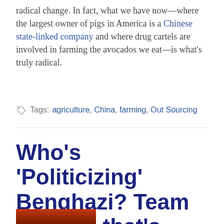radical change. In fact, what we have now—where the largest owner of pigs in America is a Chinese state-linked company and where drug cartels are involved in farming the avocados we eat—is what's truly radical.
Tags: agriculture, China, farming, Out Sourcing
Who's 'Politicizing' Benghazi? Team Obama, that's who!
October 14, 2012
[Figure (photo): Bottom portion of an image showing dark orange/red tones, partially visible at the bottom of the page]